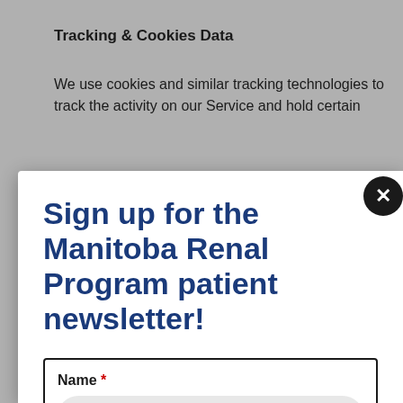Tracking & Cookies Data
We use cookies and similar tracking technologies to track the activity on our Service and hold certain
Sign up for the Manitoba Renal Program patient newsletter!
Name *
First Name
Last Name
Last Name